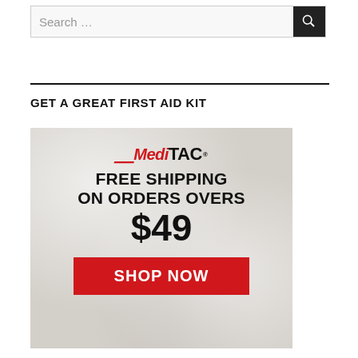Search …
GET A GREAT FIRST AID KIT
[Figure (advertisement): MediTAC advertisement banner. Logo reads 'MediTAC' in red and black. Text: FREE SHIPPING ON ORDERS OVERS $49. Red button: SHOP NOW.]